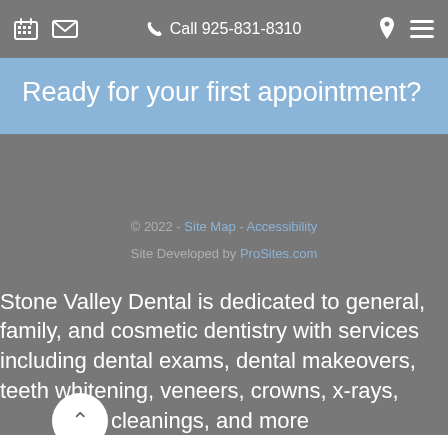Call 925-831-8310
Ready for your first appointment?
© 2022 - Site Map - Accessibility
Site Developed by ProSites.com
Stone Valley Dental is dedicated to general, family, and cosmetic dentistry with services including dental exams, dental makeovers, teeth whitening, veneers, crowns, x-rays, fluoride, cleanings, and more